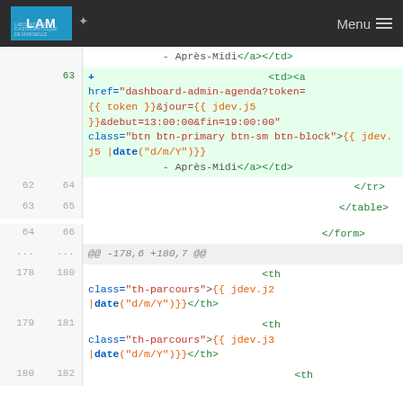LAM | Menu navigation bar
[Figure (screenshot): Code diff viewer showing HTML template changes with line numbers. Lines show additions (green background) and context lines. Content includes HTML table/form tags and Twig template syntax for a dashboard admin agenda page.]